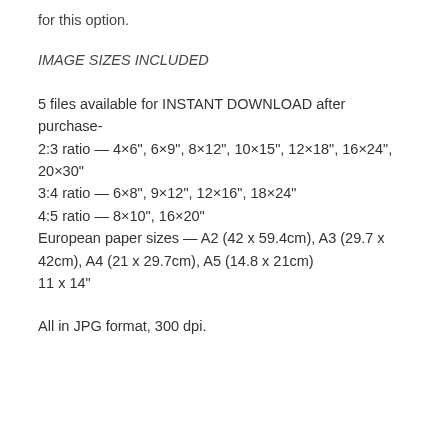for this option.
IMAGE SIZES INCLUDED
5 files available for INSTANT DOWNLOAD after purchase-
2:3 ratio — 4×6", 6×9", 8×12", 10×15", 12×18", 16×24", 20×30"
3:4 ratio — 6×8", 9×12", 12×16", 18×24"
4:5 ratio — 8×10", 16×20"
European paper sizes — A2 (42 x 59.4cm), A3 (29.7 x 42cm), A4 (21 x 29.7cm), A5 (14.8 x 21cm)
11 x 14"
All in JPG format, 300 dpi.